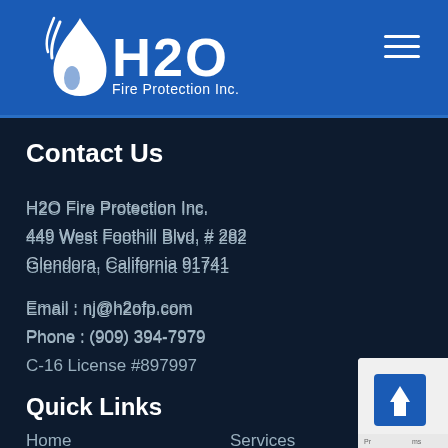[Figure (logo): H2O Fire Protection Inc. logo with flame/water drop icon on blue header bar]
Contact Us
H2O Fire Protection Inc.
449 West Foothill Blvd, # 282
Glendora, California 91741
Email : nj@h2ofp.com
Phone : (909) 394-7979
C-16 License #897997
Quick Links
Home
Services
About Us
Schedule an